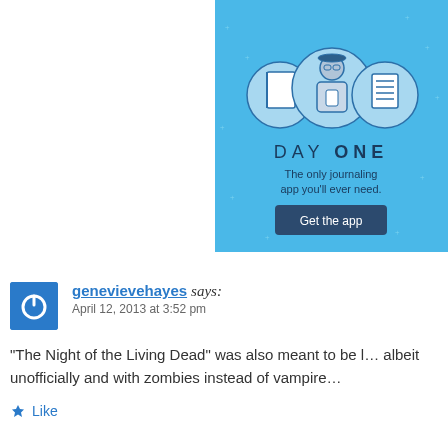[Figure (illustration): Day One journaling app advertisement banner with light blue background, showing illustrated icons of a notebook, a person holding a phone, and a document list. Text reads DAY ONE, The only journaling app you'll ever need. Button: Get the app.]
genevievehayes says:
April 12, 2013 at 3:52 pm
“The Night of the Living Dead” was also meant to be l... albeit unofficially and with zombies instead of vampire...
Like